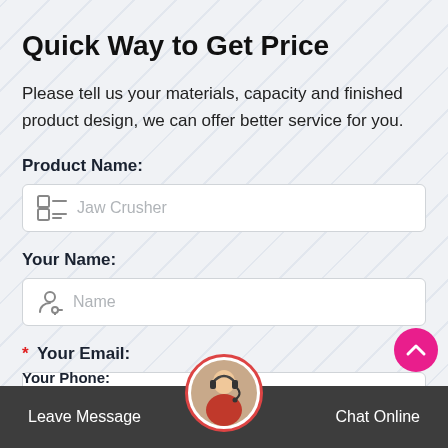Quick Way to Get Price
Please tell us your materials, capacity and finished product design, we can offer better service for you.
Product Name:
Jaw Crusher (placeholder)
Your Name:
Name (placeholder)
* Your Email:
Email (placeholder)
Your Phone:
Leave Message   Chat Online